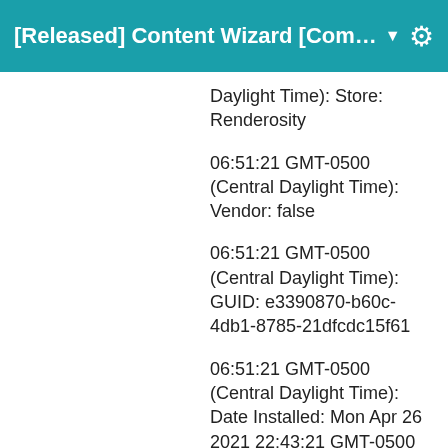[Released] Content Wizard [Com... ▼
Daylight Time): Store: Renderosity
06:51:21 GMT-0500 (Central Daylight Time): Vendor: false
06:51:21 GMT-0500 (Central Daylight Time): GUID: e3390870-b60c-4db1-8785-21dfcdc15f61
06:51:21 GMT-0500 (Central Daylight Time): Date Installed: Mon Apr 26 2021 22:43:21 GMT-0500 (Central Daylight Time) (Currently Installed: true)
06:51:21 GMT-0500 (Central Daylight Time): Date Released: Mon Apr 26 2021 22:43:21 GMT-